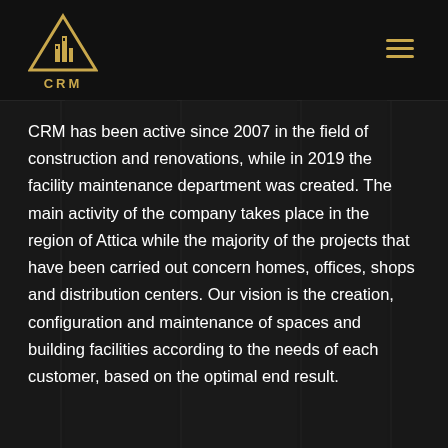[Figure (logo): CRM construction company logo: gold triangle/building silhouette icon with CRM text below in gold letters on black background]
CRM has been active since 2007 in the field of construction and renovations, while in 2019 the facility maintenance department was created. The main activity of the company takes place in the region of Attica while the majority of the projects that have been carried out concern homes, offices, shops and distribution centers. Our vision is the creation, configuration and maintenance of spaces and building facilities according to the needs of each customer, based on the optimal end result.